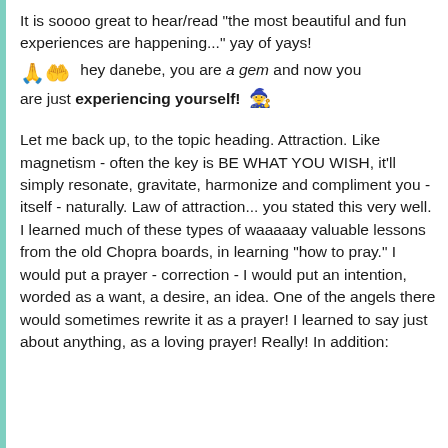It is soooo great to hear/read "the most beautiful and fun experiences are happening..." yay of yays! 🙏👐 hey danebe, you are a gem and now you are just experiencing yourself! 🧙
Let me back up, to the topic heading. Attraction. Like magnetism - often the key is BE WHAT YOU WISH, it'll simply resonate, gravitate, harmonize and compliment you - itself - naturally. Law of attraction... you stated this very well. I learned much of these types of waaaaay valuable lessons from the old Chopra boards, in learning "how to pray." I would put a prayer - correction - I would put an intention, worded as a want, a desire, an idea. One of the angels there would sometimes rewrite it as a prayer! I learned to say just about anything, as a loving prayer! Really! In addition: